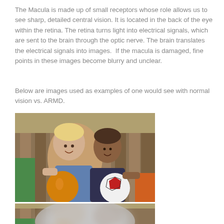The Macula is made up of small receptors whose role allows us to see sharp, detailed central vision. It is located in the back of the eye within the retina. The retina turns light into electrical signals, which are sent to the brain through the optic nerve. The brain translates the electrical signals into images.  If the macula is damaged, fine points in these images become blurry and unclear.
Below are images used as examples of one would see with normal vision vs. ARMD.
[Figure (photo): Photo of two young children smiling, one blonde and one dark-haired, each holding a ball (orange ball and soccer ball) outdoors. This represents normal vision — sharp and clear.]
[Figure (photo): Same photo of two children but with a large blurry grey area in the center, simulating vision loss from Age-Related Macular Degeneration (ARMD).]